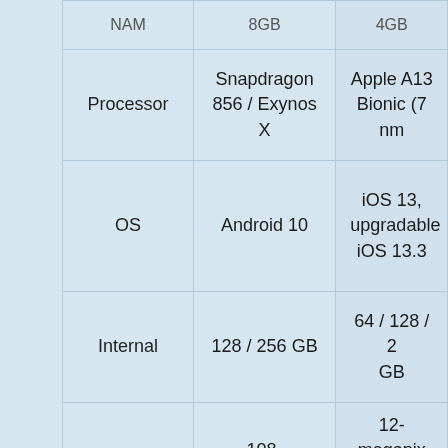|  | Samsung (NAM) | Apple A13 |
| --- | --- | --- |
| Processor | Snapdragon 856 / Exynos X | Apple A13 Bionic (7 nm |
| OS | Android 10 | iOS 13, upgradable iOS 13.3 |
| Internal | 128 / 256 GB | 64 / 128 / 2 GB |
| Camera | 108-megapixel Pentacamera setup
10-megapixel front camera | 12-megapix rear camer
12-megapix front came |
|  | [Translate »] | Face ID, |